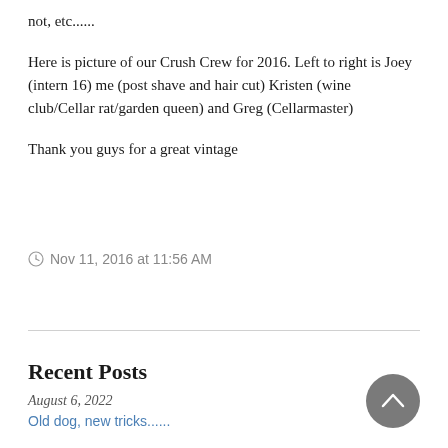not, etc......
Here is picture of our Crush Crew for 2016. Left to right is Joey (intern 16) me (post shave and hair cut) Kristen (wine club/Cellar rat/garden queen) and Greg (Cellarmaster)
Thank you guys for a great vintage
Nov 11, 2016 at 11:56 AM
Recent Posts
August 6, 2022
Old dog, new tricks......